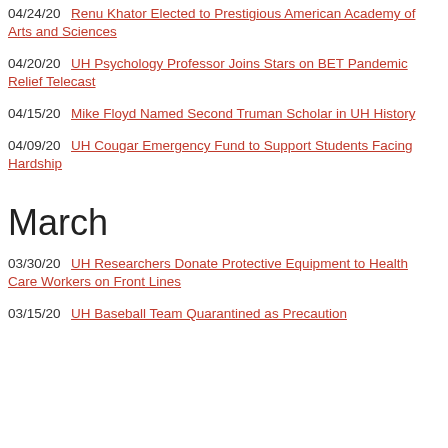04/24/20  Renu Khator Elected to Prestigious American Academy of Arts and Sciences
04/20/20  UH Psychology Professor Joins Stars on BET Pandemic Relief Telecast
04/15/20  Mike Floyd Named Second Truman Scholar in UH History
04/09/20  UH Cougar Emergency Fund to Support Students Facing Hardship
March
03/30/20  UH Researchers Donate Protective Equipment to Health Care Workers on Front Lines
03/15/20  UH Baseball Team Quarantined as Precaution